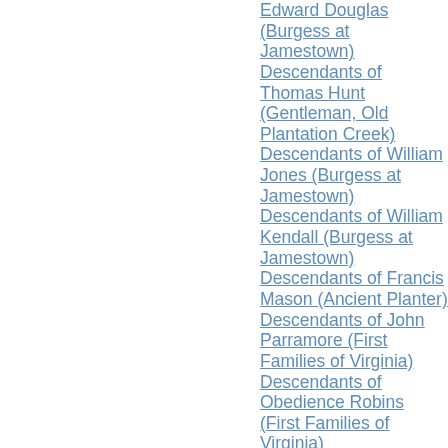Edward Douglas (Burgess at Jamestown)
Descendants of Thomas Hunt (Gentleman, Old Plantation Creek)
Descendants of William Jones (Burgess at Jamestown)
Descendants of William Kendall (Burgess at Jamestown)
Descendants of Francis Mason (Ancient Planter)
Descendants of John Parramore (First Families of Virginia)
Descendants of Obedience Robins (First Families of Virginia)
Descendants of Ensign...